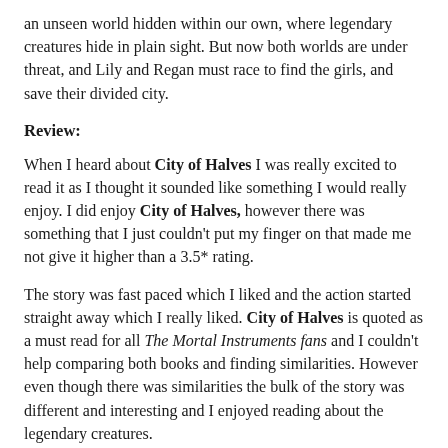an unseen world hidden within our own, where legendary creatures hide in plain sight. But now both worlds are under threat, and Lily and Regan must race to find the girls, and save their divided city.
Review:
When I heard about City of Halves I was really excited to read it as I thought it sounded like something I would really enjoy. I did enjoy City of Halves, however there was something that I just couldn't put my finger on that made me not give it higher than a 3.5* rating.
The story was fast paced which I liked and the action started straight away which I really liked. City of Halves is quoted as a must read for all The Mortal Instruments fans and I couldn't help comparing both books and finding similarities. However even though there was similarities the bulk of the story was different and interesting and I enjoyed reading about the legendary creatures.
City of Halves had a strong female and male lead. I really liked both Lily and Regan. The insta love was of course typical but I kinda heart insta love. :)